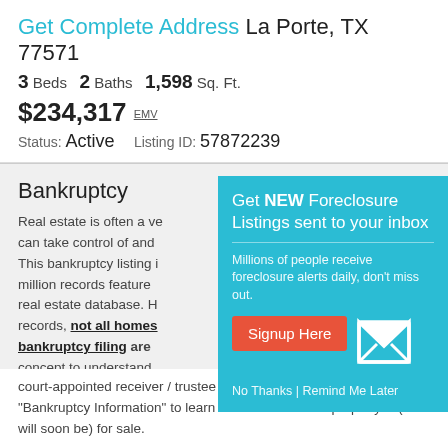Get Complete Address La Porte, TX 77571
3 Beds  2 Baths  1,598 Sq. Ft.
$234,317 EMV
Status: Active    Listing ID: 57872239
Bankruptcy
Real estate is often a ve... can take control of and ... This bankruptcy listing in... million records featured... real estate database. H... records, not all homes... bankruptcy filing are... concept to understand... La Porte, TX. We highly r... court-appointed receiver / trustee listed below (scroll down) under "Bankruptcy Information" to learn whether or not the property is (or will soon be) for sale.
[Figure (infographic): Popup advertisement: 'Get NEW Foreclosure Listings sent to your inbox'. Contains subtitle 'Millions of people receive foreclosure alerts daily, don\'t miss out.', a red 'Signup Here' button, an envelope icon, and links 'No Thanks | Remind Me Later'.]